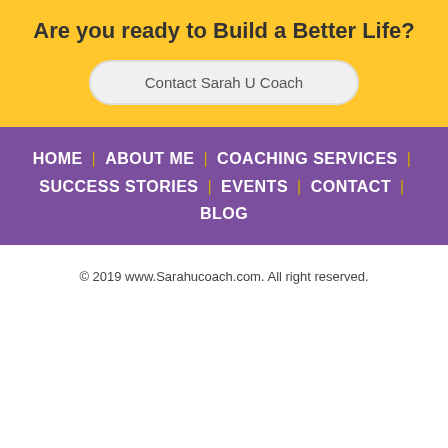Are you ready to Build a Better Life?
Contact Sarah U Coach
HOME | ABOUT ME | COACHING SERVICES | SUCCESS STORIES | EVENTS | CONTACT | BLOG
© 2019 www.Sarahucoach.com. All right reserved.